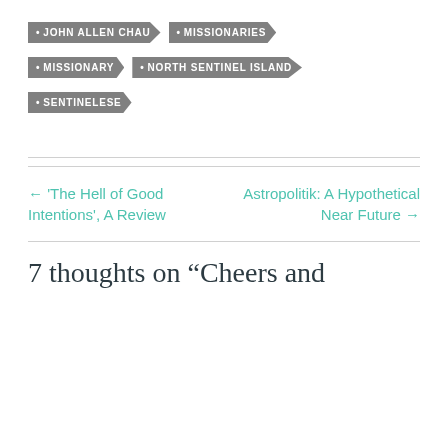JOHN ALLEN CHAU
MISSIONARIES
MISSIONARY
NORTH SENTINEL ISLAND
SENTINELESE
← 'The Hell of Good Intentions', A Review
Astropolitik: A Hypothetical Near Future →
7 thoughts on “Cheers and